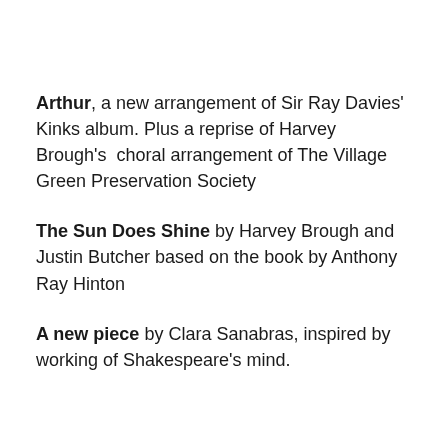Arthur, a new arrangement of Sir Ray Davies' Kinks album. Plus a reprise of Harvey Brough's  choral arrangement of The Village Green Preservation Society
The Sun Does Shine by Harvey Brough and Justin Butcher based on the book by Anthony Ray Hinton
A new piece by Clara Sanabras, inspired by working of Shakespeare's mind.